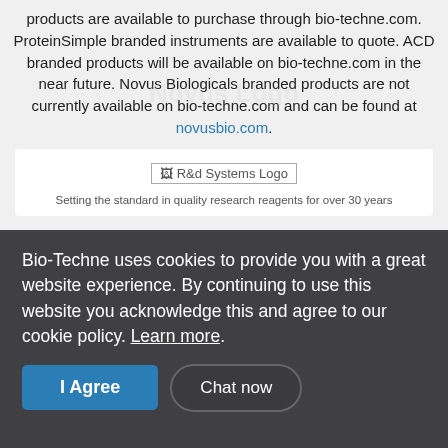products are available to purchase through bio-techne.com. ProteinSimple branded instruments are available to quote. ACD branded products will be available on bio-techne.com in the near future. Novus Biologicals branded products are not currently available on bio-techne.com and can be found at novusbio.com.
[Figure (logo): R&d Systems Logo placeholder image]
Setting the standard in quality research reagents for over 30 years
Bio-Techne uses cookies to provide you with a great website experience. By continuing to use this website you acknowledge this and agree to our cookie policy. Learn more.
I Agree
Chat now